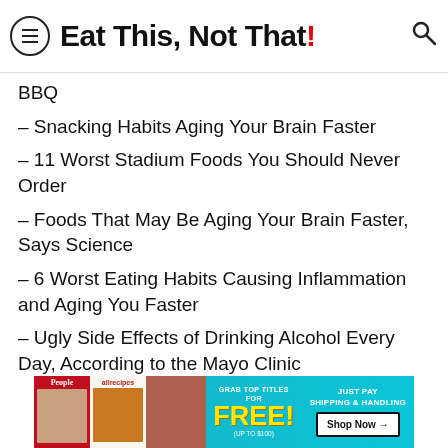Eat This, Not That!
BBQ
– Snacking Habits Aging Your Brain Faster
– 11 Worst Stadium Foods You Should Never Order
– Foods That May Be Aging Your Brain Faster, Says Science
– 6 Worst Eating Habits Causing Inflammation and Aging You Faster
– Ugly Side Effects of Drinking Alcohol Every Day, According to the Mayo Clinic
[Figure (other): Advertisement banner: Grab top titles for FREE (up to $100), just pay shipping & handling, Shop Now arrow button. Features People and allrecipes magazine covers.]